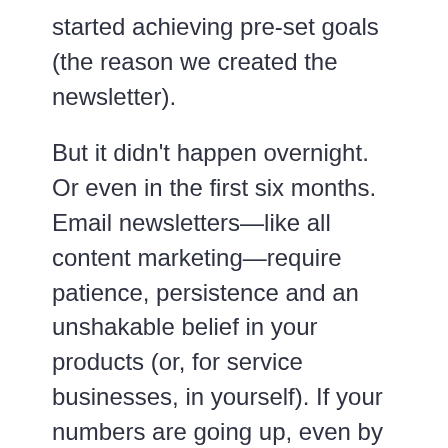started achieving pre-set goals (the reason we created the newsletter).
But it didn't happen overnight. Or even in the first six months. Email newsletters—like all content marketing—require patience, persistence and an unshakable belief in your products (or, for service businesses, in yourself). If your numbers are going up, even by twos and threes, you're on the right track.
Review your stats to learn what people are opening/clicking, and offer more of that. Put your subscribe link in your email signature, and on your business cards. Subscribe to a newsletter full of content ideas (like this one)